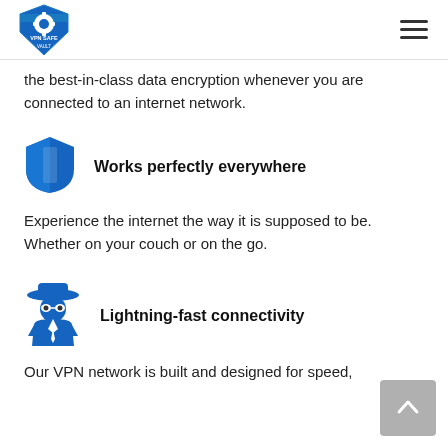VPN SAFE VAULT
the best-in-class data encryption whenever you are connected to an internet network.
[Figure (logo): Blue shield icon]
Works perfectly everywhere
Experience the internet the way it is supposed to be. Whether on your couch or on the go.
[Figure (illustration): Blue spy/incognito figure icon]
Lightning-fast connectivity
Our VPN network is built and designed for speed,